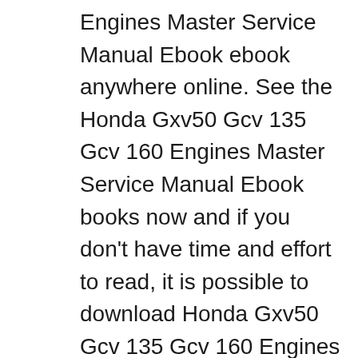Engines Master Service Manual Ebook ebook anywhere online. See the Honda Gxv50 Gcv 135 Gcv 160 Engines Master Service Manual Ebook books now and if you don't have time and effort to read, it is possible to download Honda Gxv50 Gcv 135 Gcv 160 Engines Master Service Manual Ebook ebooks on your laptop and check next time. Download Honda Gxv50 Gcv 135 Gcv 160 Engines Master Service вЂ¦ Engine Service Repair Shop. Honda Marine / Shop Manuals - Pressure washer honda gcv160 engine wont start. View and download honda gcv160, gcv190 owner's manual online. honda car parts Honda gcv160 engine lawn mowers @ mowers direct. Honda gcv160. The